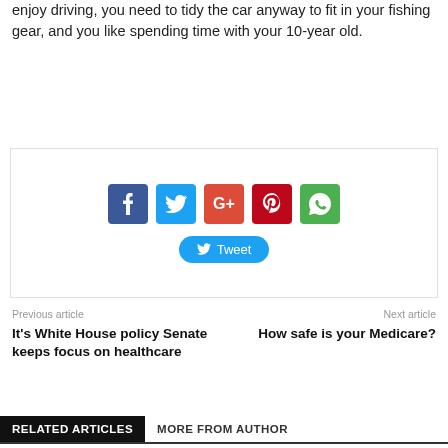enjoy driving, you need to tidy the car anyway to fit in your fishing gear, and you like spending time with your 10-year old.
Continue Reading
[Figure (infographic): Social sharing buttons: Facebook, Twitter, Google+, Pinterest, WhatsApp icons, and a Tweet button]
Previous article
It's White House policy Senate keeps focus on healthcare
Next article
How safe is your Medicare?
RELATED ARTICLES	MORE FROM AUTHOR